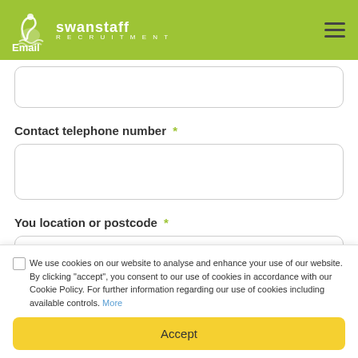swanstaff RECRUITMENT — Email
Email
Contact telephone number *
You location or postcode *
We use cookies on our website to analyse and enhance your use of our website. By clicking "accept", you consent to our use of cookies in accordance with our Cookie Policy. For further information regarding our use of cookies including available controls. More
Accept